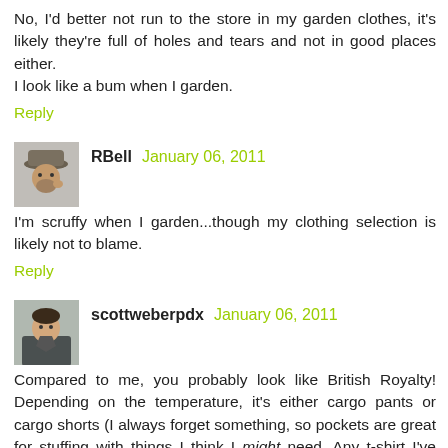No, I'd better not run to the store in my garden clothes, it's likely they're full of holes and tears and not in good places either.
I look like a bum when I garden.
Reply
[Figure (photo): Avatar photo of RBell, a man in a cap]
RBell  January 06, 2011
I'm scruffy when I garden...though my clothing selection is likely not to blame.
Reply
[Figure (photo): Avatar photo of scottweberpdx, a person]
scottweberpdx  January 06, 2011
Compared to me, you probably look like British Royalty! Depending on the temperature, it's either cargo pants or cargo shorts (I always forget something, so pockets are great for stuffing with things I think I might need. Any t-shirt I've worn recently and stretched out is good, usually white, so I can bleach any stains out later. I think my partner is appalled to see me out there sweating and swearing, but